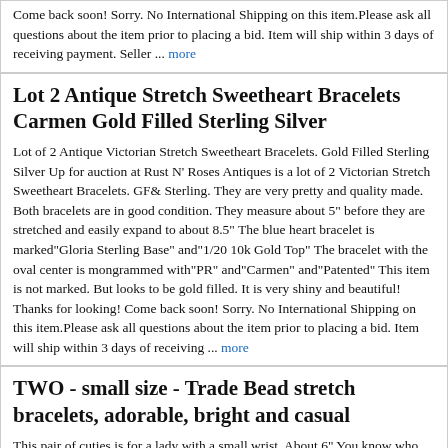Come back soon! Sorry. No International Shipping on this item.Please ask all questions about the item prior to placing a bid. Item will ship within 3 days of receiving payment. Seller ... more
Lot 2 Antique Stretch Sweetheart Bracelets Carmen Gold Filled Sterling Silver
Lot of 2 Antique Victorian Stretch Sweetheart Bracelets. Gold Filled Sterling Silver Up for auction at Rust N' Roses Antiques is a lot of 2 Victorian Stretch Sweetheart Bracelets. GF& Sterling. They are very pretty and quality made. Both bracelets are in good condition. They measure about 5" before they are stretched and easily expand to about 8.5" The blue heart bracelet is marked"Gloria Sterling Base" and"1/20 10k Gold Top" The bracelet with the oval center is mongrammed with"PR" and"Carmen" and"Patented" This item is not marked. But looks to be gold filled. It is very shiny and beautiful! Thanks for looking! Come back soon! Sorry. No International Shipping on this item.Please ask all questions about the item prior to placing a bid. Item will ship within 3 days of receiving ... more
TWO - small size - Trade Bead stretch bracelets, adorable, bright and casual
This pair of cuties is for a lady with a small wrist. About 6" You know who you are. most bracelets fall off your arm or flip around and around. They seem to be made of ceramic glass and hand painted decorations probably made in Ghana Africa. One bid for both bracelets.
3402 Set of Two Vintage